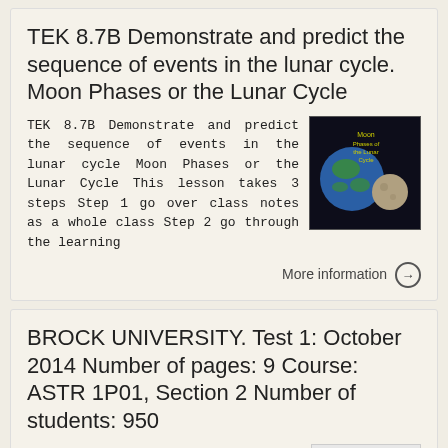TEK 8.7B Demonstrate and predict the sequence of events in the lunar cycle. Moon Phases or the Lunar Cycle
TEK 8.7B Demonstrate and predict the sequence of events in the lunar cycle Moon Phases or the Lunar Cycle This lesson takes 3 steps Step 1 go over class notes as a whole class Step 2 go through the learning
More information →
BROCK UNIVERSITY. Test 1: October 2014 Number of pages: 9 Course: ASTR 1P01, Section 2 Number of students: 950
BROCK UNIVERSITY Page 1 of 9 Test 1: October 2014 Number of pages: 9 Course: ASTR 1P01, Section 2 Number of students: 950 Examination date: 3 October 2013 Time